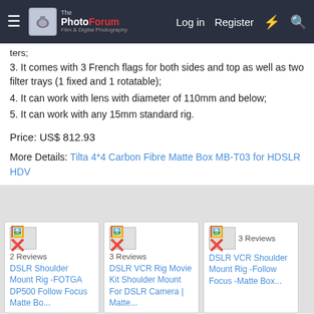ThePhotoForum — Log in | Register
ters;
3. It comes with 3 French flags for both sides and top as well as two filter trays (1 fixed and 1 rotatable);
4. It can work with lens with diameter of 110mm and below;
5. It can work with any 15mm standard rig.
Price: US$ 812.93
More Details: Tilta 4*4 Carbon Fibre Matte Box MB-T03 for HDSLR HDV
[Figure (screenshot): Three related product cards with broken images. Card 1: 2 Reviews DSLR Shoulder Mount Rig -FOTGA DP500 Follow Focus Matte Bo... Card 2: 3 Reviews DSLR VCR Rig Movie Kit Shoulder Mount For DSLR Camera | Matte... Card 3: 3 Reviews DSLR VCR Shoulder Mount Rig -Follow Focus -Matte Box...]